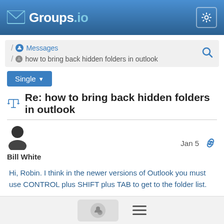Groups.io
/ Messages / how to bring back hidden folders in outlook
Single
Re: how to bring back hidden folders in outlook
Bill White  Jan 5
Hi, Robin. I think in the newer versions of Outlook you must use CONTROL plus SHIFT plus TAB to get to the folder list.
Bill White